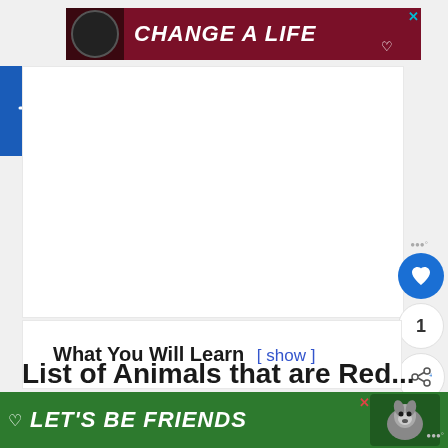[Figure (other): Top advertisement banner with dark red background, dog photo, text 'CHANGE A LIFE' in white italic bold, heart icon, and X close button]
[Figure (other): Blue square accessibility button with wheelchair symbol icon]
[Figure (other): Social sidebar with fire/trending icon, blue heart button, number 1, and share button]
What You Will Learn  [ show ]
List of Animals that are Red...
[Figure (other): Bottom advertisement banner with green background, heart icon, text "LET'S BE FRIENDS", husky dog photo, X close button, and fire/trending icon]